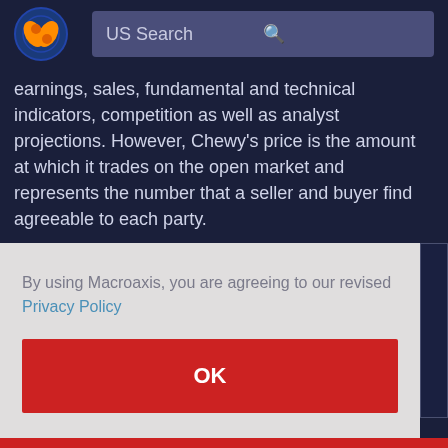US Search
earnings, sales, fundamental and technical indicators, competition as well as analyst projections. However, Chewy’s price is the amount at which it trades on the open market and represents the number that a seller and buyer find agreeable to each party.
By using Macroaxis, you are agreeing to our revised Privacy Policy
OK